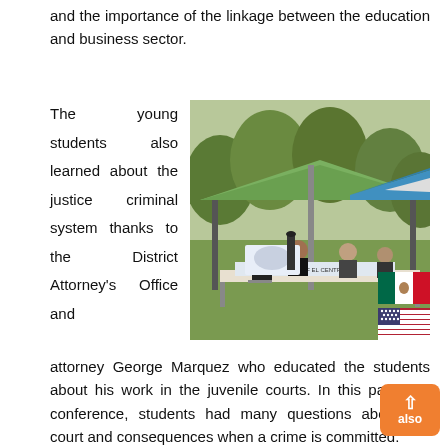and the importance of the linkage between the education and business sector.
[Figure (photo): Outdoor event with canopy tents set up on a grass lawn; people seated at tables underneath the tents; a banner visible on the front table; trees in background.]
The young students also learned about the justice criminal system thanks to the District Attorney's Office and attorney George Marquez who educated the students about his work in the juvenile courts. In this particular conference, students had many questions about the court and consequences when a crime is committed.
Imperial County Deputy CEO Esperanza Colio Warren participated, telling the students about hard work and not making